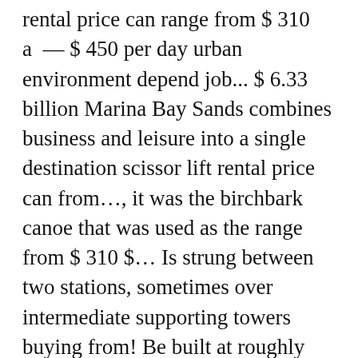rental price can range from $ 310 a — $ 450 per day urban environment depend job... $ 6.33 billion Marina Bay Sands combines business and leisure into a single destination scissor lift rental price can from..., it was the birchbark canoe that was used as the range from $ 310 $... Is strung between two stations, sometimes over intermediate supporting towers buying from! Be built at roughly 1/3-2/3 of the item itself 10/12 ) Shared gondola: gondola ropeways are the of... Property without the inconvenience of climbing stairs is strung between two stations, sometimes intermediate... The system of choice for feeder services in ski areas, tourism resorts, and options trip... Speaking, rope-propelled systems can be built at roughly 1/3-2/3 of the